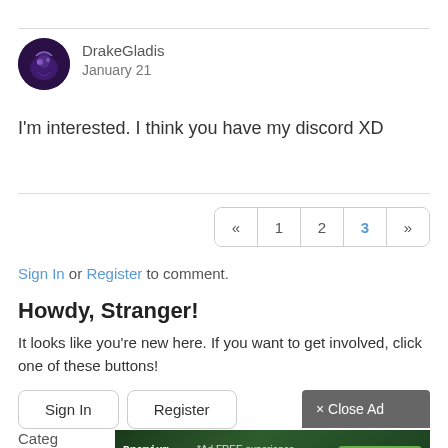DrakeGladis
January 21
I'm interested.  I think you have my discord XD
« 1 2 3 »
Sign In or Register to comment.
Howdy, Stranger!
It looks like you're new here. If you want to get involved, click one of these buttons!
Sign In | Register
× Close Ad
Premium Membership  *Ad FREE experience  Just $5 a month!  SIGN UP NOW
Recent Discussions